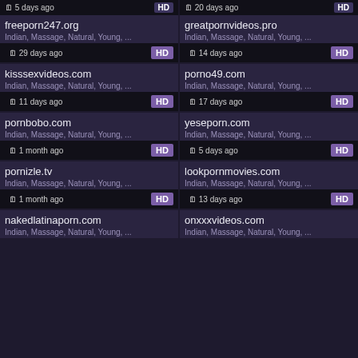5 days ago
20 days ago
freeporn247.org — Indian, Massage, Natural, Young, ...
greatpornvideos.pro — Indian, Massage, Natural, Young, ...
29 days ago — kisssexvideos.com — Indian, Massage, Natural, Young, ...
14 days ago — porno49.com — Indian, Massage, Natural, Young, ...
11 days ago — pornbobo.com — Indian, Massage, Natural, Young, ...
17 days ago — yeseporn.com — Indian, Massage, Natural, Young, ...
1 month ago — pornizle.tv — Indian, Massage, Natural, Young, ...
5 days ago — lookpornmovies.com — Indian, Massage, Natural, Young, ...
1 month ago — nakedlatinaporn.com — Indian, Massage, Natural, Young, ...
13 days ago — onxxxvideos.com — Indian, Massage, Natural, Young, ...